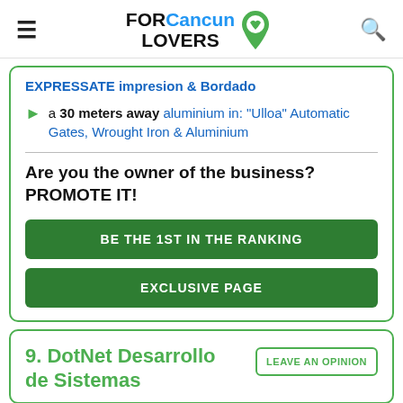FOR Cancun LOVERS
EXPRESSATE impresion & Bordado
a 30 meters away aluminium in: "Ulloa" Automatic Gates, Wrought Iron & Aluminium
Are you the owner of the business? PROMOTE IT!
BE THE 1ST IN THE RANKING
EXCLUSIVE PAGE
9. DotNet Desarrollo de Sistemas
LEAVE AN OPINION